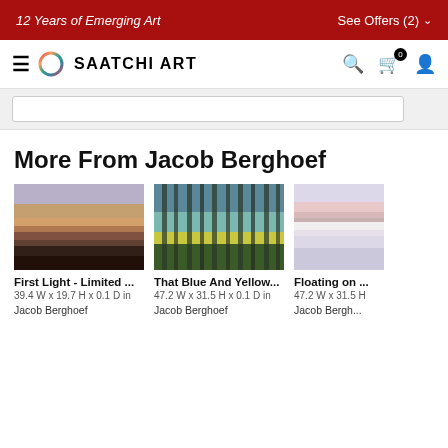12 Years of Emerging Art | See Offers (2)
SAATCHI ART
More From Jacob Berghoef
[Figure (photo): Abstract blurred landscape photograph – First Light - Limited ...]
First Light - Limited ...
39.4 W x 19.7 H x 0.1 D in
Jacob Berghoef
[Figure (photo): Abstract blurred forest photograph with blue and yellow hues – That Blue And Yellow...]
That Blue And Yellow...
47.2 W x 31.5 H x 0.1 D in
Jacob Berghoef
[Figure (photo): Abstract blurred horizontal lines photograph – Floating on ...]
Floating on ...
47.2 W x 31.5 H ...
Jacob Bergh...